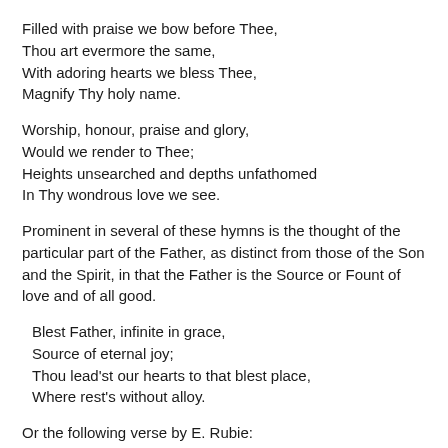Filled with praise we bow before Thee,
  Thou art evermore the same,
With adoring hearts we bless Thee,
  Magnify Thy holy name.
Worship, honour, praise and glory,
  Would we render to Thee;
Heights unsearched and depths unfathomed
  In Thy wondrous love we see.
Prominent in several of these hymns is the thought of the particular part of the Father, as distinct from those of the Son and the Spirit, in that the Father is the Source or Fount of love and of all good.
Blest Father, infinite in grace,
  Source of eternal joy;
Thou lead'st our hearts to that blest place,
  Where rest's without alloy.
Or the following verse by E. Rubie:
Our Father, we praise Thee,
Thou source of all blessing,
The Son has revealed Thee,